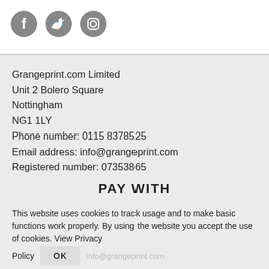[Figure (other): Three circular grey social media icons: Facebook, Twitter, Instagram]
Grangeprint.com Limited
Unit 2 Bolero Square
Nottingham
NG1 1LY
Phone number: 0115 8378525
Email address: info@grangeprint.com
Registered number: 07353865
PAY WITH
[Figure (other): Five payment method icons: VISA, Maestro, Mastercard, JCB, PayPal — shown as grey rounded rectangles]
This website uses cookies to track usage and to make basic functions work properly. By using the website you accept the use of cookies. View Privacy Policy
OK